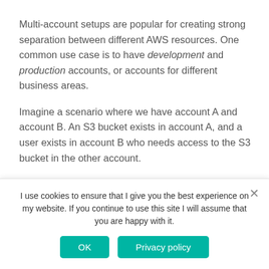Multi-account setups are popular for creating strong separation between different AWS resources. One common use case is to have development and production accounts, or accounts for different business areas.
Imagine a scenario where we have account A and account B. An S3 bucket exists in account A, and a user exists in account B who needs access to the S3 bucket in the other account.
I use cookies to ensure that I give you the best experience on my website. If you continue to use this site I will assume that you are happy with it.